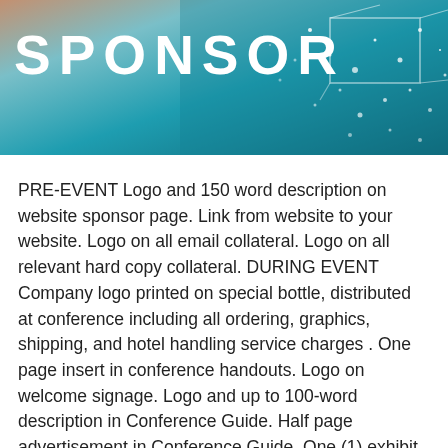[Figure (photo): Teal and warm-toned banner header with the word SPONSOR in large bold white letters, decorative geometric line art on the right, and sparkling light effects]
SPONSOR
PRE-EVENT Logo and 150 word description on website sponsor page. Link from website to your website. Logo on all email collateral. Logo on all relevant hard copy collateral. DURING EVENT Company logo printed on special bottle, distributed at conference including all ordering, graphics, shipping, and hotel handling service charges . One page insert in conference handouts. Logo on welcome signage. Logo and up to 100-word description in Conference Guide. Half page advertisement in Conference Guide. One (1) exhibit space. Two (2) complimentary delegate passes. POST EVENT Logo and 150 word description on conference